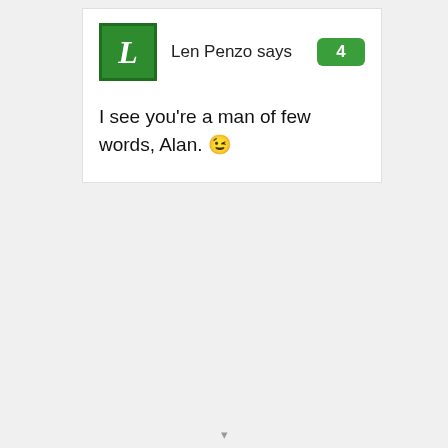Len Penzo says 4
I see you're a man of few words, Alan. 😉